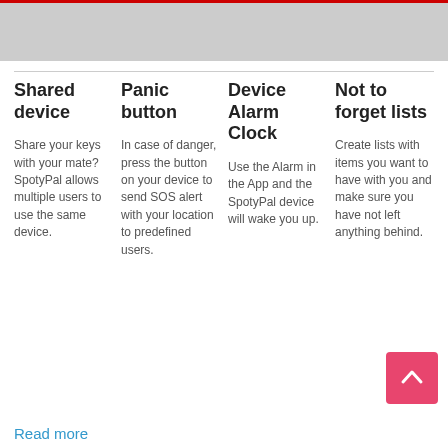[Figure (photo): Four thumbnail photos in a horizontal strip at the top: hand holding a red device, person walking on a grey floor, person resting/sleeping, and a dark device/gadget.]
Shared device
Share your keys with your mate? SpotyPal allows multiple users to use the same device.
Panic button
In case of danger, press the button on your device to send SOS alert with your location to predefined users.
Device Alarm Clock
Use the Alarm in the App and the SpotyPal device will wake you up.
Not to forget lists
Create lists with items you want to have with you and make sure you have not left anything behind.
Read more